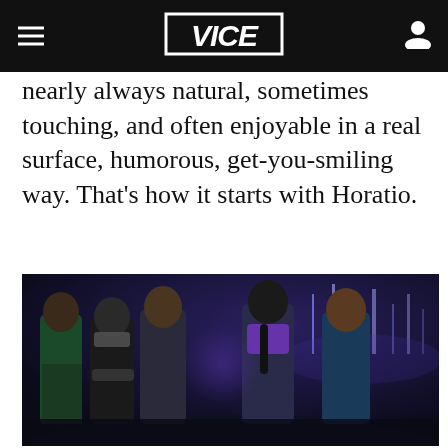VICE
nearly always natural, sometimes touching, and often enjoyable in a real surface, humorous, get-you-smiling way. That's how it starts with Horatio.
[Figure (photo): Group of four characters standing together at night with a city skyline in the background, from the video game Watch Dogs 2.]
WATCH DOGS 2